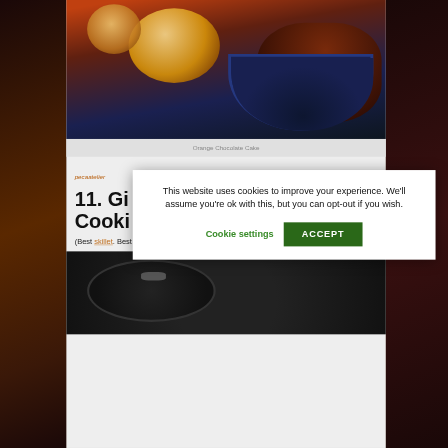[Figure (photo): Close-up photo of Orange Chocolate Cake in a blue decorative bowl with orange segments and dark chocolate cake]
Orange Chocolate Cake
pecaatelier
11. Gi... Cooki...
(Best skillet. Best way to clean it).
[Figure (photo): Close-up photo of food in a dark skillet pan]
This website uses cookies to improve your experience. We'll assume you're ok with this, but you can opt-out if you wish.
Cookie settings
ACCEPT